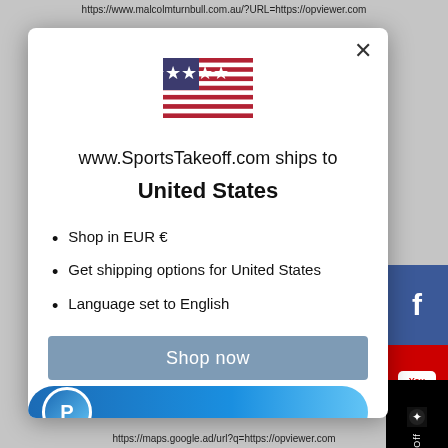https://www.malcolmturnbull.com.au/?URL=https://opviewer.com
[Figure (screenshot): Modal dialog popup on a website showing shipping information for www.SportsTakeoff.com to United States, with US flag, bullet points about EUR currency, shipping options, and English language, a 'Shop now' button, and a PayPal button. Social media sidebar buttons for Facebook and YouTube visible on the right.]
https://maps.google.ad/url?q=https://opviewer.com